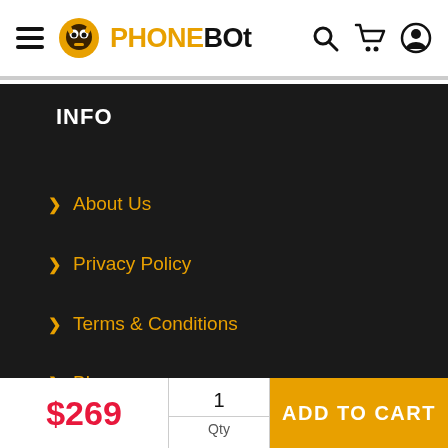PHONEBOT navigation header with hamburger menu, logo, search, cart, and profile icons
INFO
> About Us
> Privacy Policy
> Terms & Conditions
> Blog
SUP
Free Extras Worth $29
$269 | 1 Qty | ADD TO CART